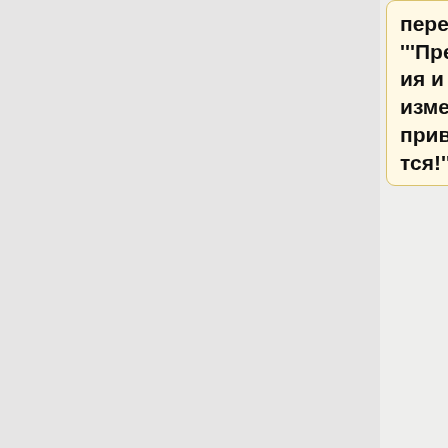перейти. '''Предложения и изменения приветствуются!'''
–
== Основное ==
–
[[:Category:General|Обзор]]
–
== Qt программирование ==